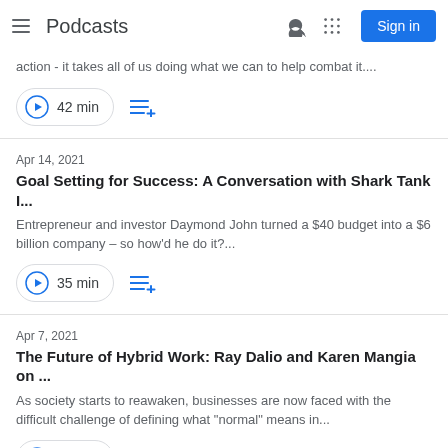Podcasts
action - it takes all of us doing what we can to help combat it....
42 min
Apr 14, 2021
Goal Setting for Success: A Conversation with Shark Tank I...
Entrepreneur and investor Daymond John turned a $40 budget into a $6 billion company – so how'd he do it?...
35 min
Apr 7, 2021
The Future of Hybrid Work: Ray Dalio and Karen Mangia on ...
As society starts to reawaken, businesses are now faced with the difficult challenge of defining what "normal" means in...
27 min